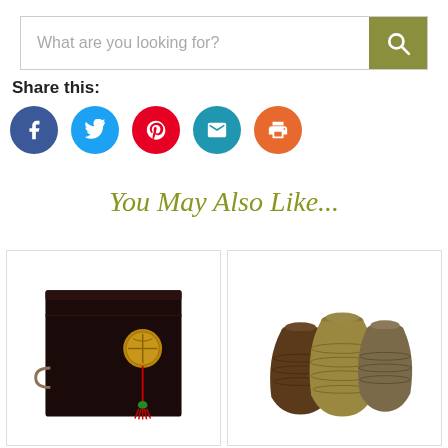[Figure (screenshot): Search bar with placeholder text 'What are you looking for?' and an olive/green search button with magnifying glass icon]
Share this:
[Figure (infographic): Five social sharing icon circles: Facebook (blue), Twitter (blue), Pinterest (red), Email (blue), Print (orange)]
You May Also Like...
[Figure (photo): Black lacquered Chinese decorative box/chest with round gold medallion clasp and red tassel pendant]
[Figure (photo): Three antique ceramic/clay pottery jars or vases in brown and tan tones]